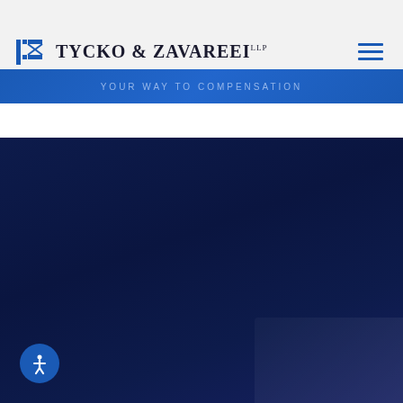Tycko & Zavareei LLP — Logo and navigation header
[Figure (logo): Tycko & Zavareei LLP law firm logo with blue geometric icon and serif firm name]
[Figure (screenshot): Dark navy blue main content area of law firm website, with a lighter panel in the lower right corner and an accessibility button at bottom left]